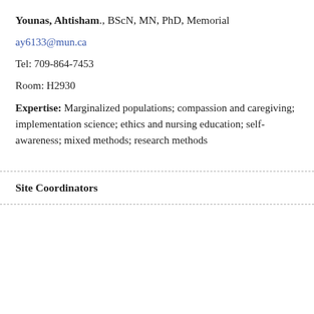Younas, Ahtisham., BScN, MN, PhD, Memorial
ay6133@mun.ca
Tel: 709-864-7453
Room: H2930
Expertise: Marginalized populations; compassion and caregiving; implementation science; ethics and nursing education; self-awareness; mixed methods; research methods
Site Coordinators